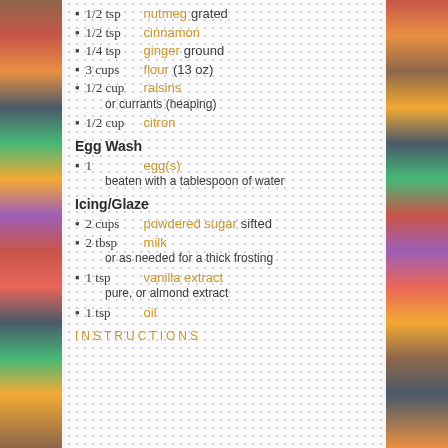1/2 tsp nutmeg grated
1/2 tsp cinnamon
1/4 tsp ginger ground
3 cups flour (13 oz)
1/2 cup raisins or currants (heaping)
1/2 cup citron
Egg Wash
1 egg(s) beaten with a tablespoon of water
Icing/Glaze
2 cups powdered sugar sifted
2 tbsp milk or as needed for a thick frosting
1 tsp vanilla extract pure, or almond extract
1 tsp oil
INSTRUCTIONS